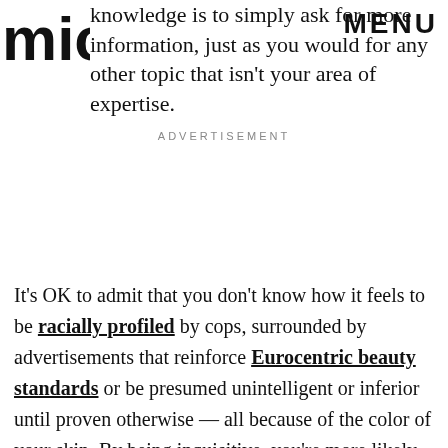MIC | MENU
knowledge is to simply ask for more information, just as you would for any other topic that isn't your area of expertise.
ADVERTISEMENT
It's OK to admit that you don't know how it feels to be racially profiled by cops, surrounded by advertisements that reinforce Eurocentric beauty standards or be presumed unintelligent or inferior until proven otherwise — all because of the color of your skin. By being inquisitive, you're more likely to